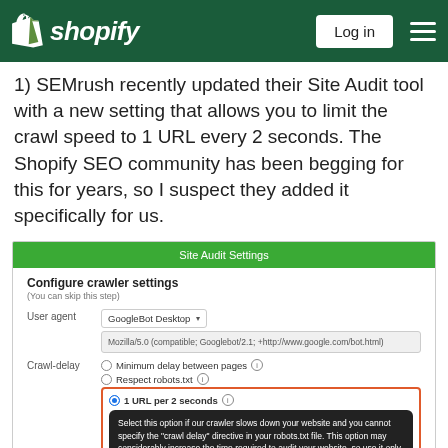[Figure (screenshot): Shopify website header with logo, Log in button, and hamburger menu on dark green background]
1) SEMrush recently updated their Site Audit tool with a new setting that allows you to limit the crawl speed to 1 URL every 2 seconds. The Shopify SEO community has been begging for this for years, so I suspect they added it specifically for us.
[Figure (screenshot): SEMrush Site Audit Settings panel showing crawler configuration with User agent set to GoogleBot Desktop and Crawl-delay options including Minimum delay between pages, Respect robots.txt, and 1 URL per 2 seconds (selected), with tooltip explaining the option]